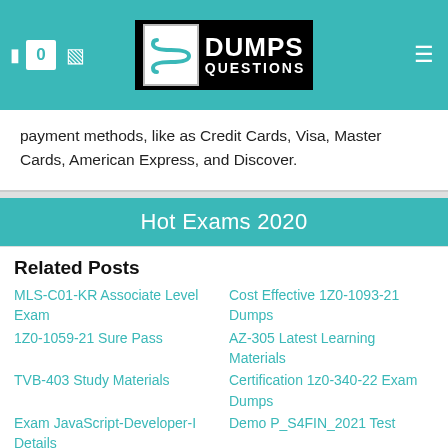DumpsQuestions - header with logo and navigation icons
payment methods, like as Credit Cards, Visa, Master Cards, American Express, and Discover.
Hot Exams 2020
Related Posts
MLS-C01-KR Associate Level Exam
Cost Effective 1Z0-1093-21 Dumps
1Z0-1059-21 Sure Pass
AZ-305 Latest Learning Materials
TVB-403 Study Materials
Certification 1z0-340-22 Exam Dumps
Exam JavaScript-Developer-I Details
Demo P_S4FIN_2021 Test
Valid NSE6_WCS-7.0 Practice Questions
New NSE6_WCS-7.0 Dumps Files
350-401 Exam Testking